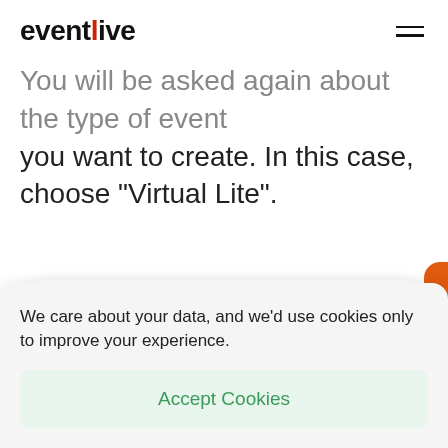eventlive
You will be asked again about the type of event you want to create. In this case, choose “Virtual Lite”.
We care about your data, and we’d use cookies only to improve your experience.
Accept Cookies